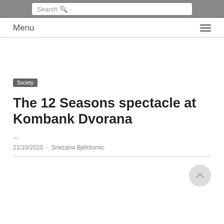Search
Menu
Society
The 12 Seasons spectacle at Kombank Dvorana
...
21/10/2020 · Snezana Bjelotomic